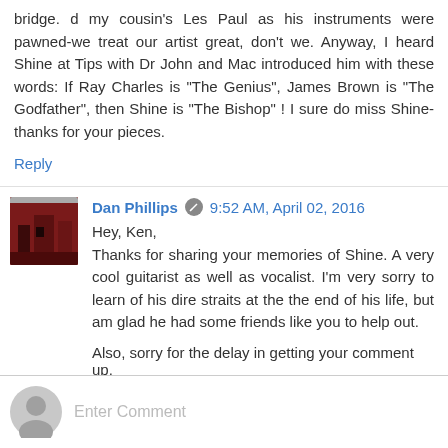bridge. d my cousin's Les Paul as his instruments were pawned-we treat our artist great, don't we. Anyway, I heard Shine at Tips with Dr John and Mac introduced him with these words: If Ray Charles is "The Genius", James Brown is "The Godfather", then Shine is "The Bishop" ! I sure do miss Shine-thanks for your pieces.
Reply
Dan Phillips  9:52 AM, April 02, 2016
Hey, Ken,
Thanks for sharing your memories of Shine. A very cool guitarist as well as vocalist. I'm very sorry to learn of his dire straits at the the end of his life, but am glad he had some friends like you to help out.
Also, sorry for the delay in getting your comment up.
Reply
Enter Comment